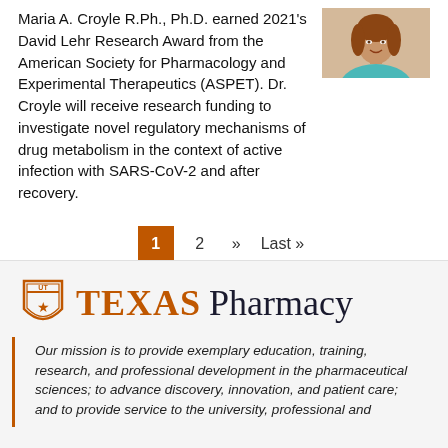[Figure (photo): Portrait photo of Maria A. Croyle, a woman wearing a teal/turquoise top, cropped at upper portion of the page]
Maria A. Croyle R.Ph., Ph.D. earned 2021's David Lehr Research Award from the American Society for Pharmacology and Experimental Therapeutics (ASPET). Dr. Croyle will receive research funding to investigate novel regulatory mechanisms of drug metabolism in the context of active infection with SARS-CoV-2 and after recovery.
1  2  »  Last »
[Figure (logo): Texas Pharmacy logo with UT shield icon, 'TEXAS' in burnt orange and 'Pharmacy' in dark navy]
Our mission is to provide exemplary education, training, research, and professional development in the pharmaceutical sciences; to advance discovery, innovation, and patient care; and to provide service to the university, professional and scientific communities, and society.